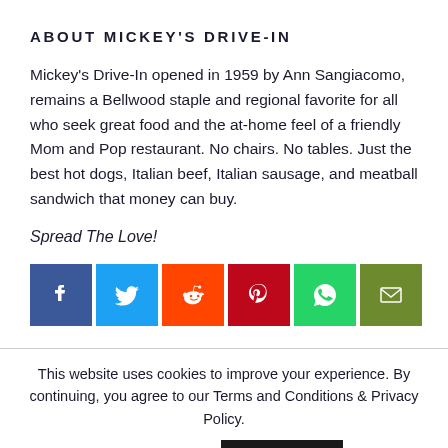ABOUT MICKEY'S DRIVE-IN
Mickey's Drive-In opened in 1959 by Ann Sangiacomo, remains a Bellwood staple and regional favorite for all who seek great food and the at-home feel of a friendly Mom and Pop restaurant. No chairs. No tables. Just the best hot dogs, Italian beef, Italian sausage, and meatball sandwich that money can buy.
Spread The Love!
[Figure (infographic): Row of six social media share buttons: Facebook (blue), Twitter (light blue), Reddit (orange), Pinterest (dark red), WhatsApp (green), Email (olive/green)]
This website uses cookies to improve your experience. By continuing, you agree to our Terms and Conditions & Privacy Policy.
Cookie settings  ACCEPT